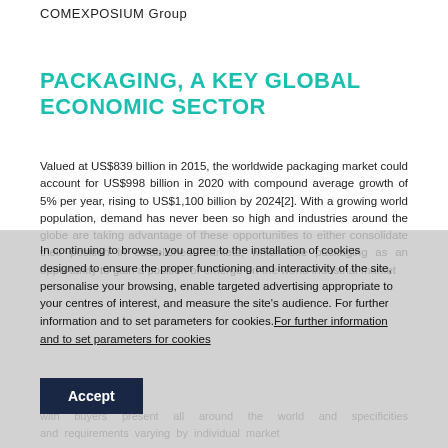COMEXPOSIUM Group
PACKAGING, A KEY GLOBAL ECONOMIC SECTOR
Valued at US$839 billion in 2015, the worldwide packaging market could account for US$998 billion in 2020 with compound average growth of 5% per year, rising to US$1,100 billion by 2024[2]. With a growing world population, demand has never been so high and industries around the globe are taking advantage of these opportunities to either consolidate their position in established markets, which see packaging as an opportunity to gain a position or emerge on the world industrial market
In continuing to browse, you agree to the installation of cookies designed to ensure the proper functioning and interactivity of the site, personalise your browsing, enable targeted advertising appropriate to your centres of interest, and measure the site's audience. For further information and to set parameters for cookies. For further information and to set parameters for cookies
Accept
with buyers present all around the world and specificities and requirements varying by individual market